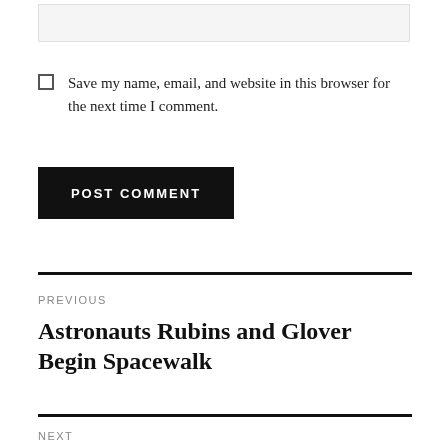[input box]
Save my name, email, and website in this browser for the next time I comment.
POST COMMENT
PREVIOUS
Astronauts Rubins and Glover Begin Spacewalk
NEXT